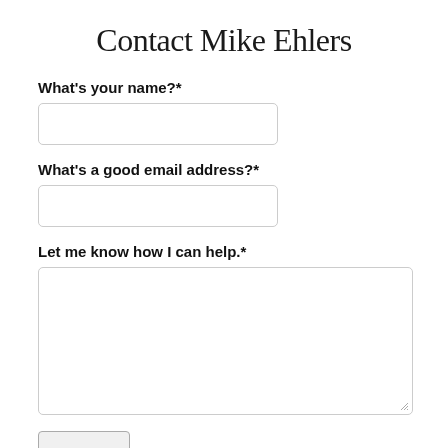Contact Mike Ehlers
What's your name?*
What's a good email address?*
Let me know how I can help.*